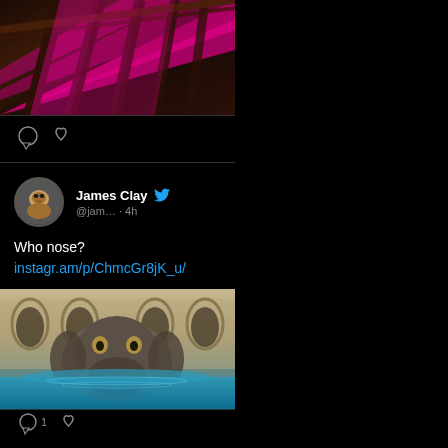[Figure (photo): Ornate wooden staircase banister with bright pink/magenta carpet, shot from below looking up at an angle]
[Figure (infographic): Action bar with comment bubble icon and heart/like icon on dark background]
James Clay @jam… · 4h
Who nose?
instagr.am/p/ChmcGr8jK_u/
[Figure (photo): Large stone elephant or animal face sculpture at a fountain with turquoise blue water, classical arcade architecture in background]
[Figure (infographic): Bottom action bar with comment icon showing count 1 and heart icon]